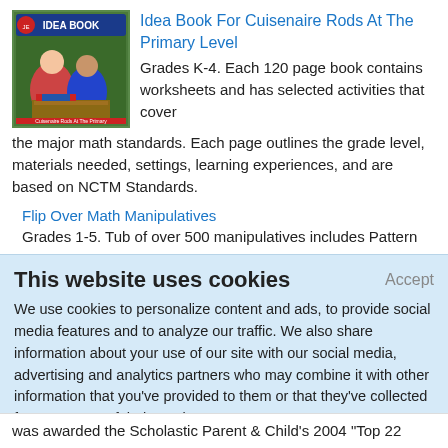[Figure (photo): Book cover for Idea Book For Cuisenaire Rods At The Primary Level showing children working with math manipulatives]
Idea Book For Cuisenaire Rods At The Primary Level
Grades K-4. Each 120 page book contains worksheets and has selected activities that cover the major math standards. Each page outlines the grade level, materials needed, settings, learning experiences, and are based on NCTM Standards.
Flip Over Math Manipulatives
Grades 1-5. Tub of over 500 manipulatives includes Pattern
This website uses cookies
Accept
We use cookies to personalize content and ads, to provide social media features and to analyze our traffic. We also share information about your use of our site with our social media, advertising and analytics partners who may combine it with other information that you've provided to them or that they've collected from your use of their services.
Learn More.
was awarded the Scholastic Parent & Child's 2004 "Top 22